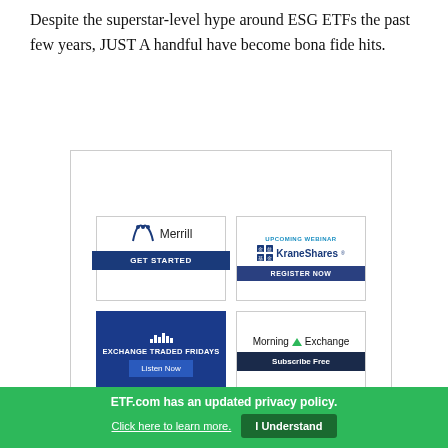Despite the superstar-level hype around ESG ETFs the past few years, JUST A handful have become bona fide hits.
[Figure (infographic): Advertisement block with four sponsor ads arranged in a 2x2 grid inside a bordered container: Merrill (GET STARTED button), KraneShares (UPCOMING WEBINAR / REGISTER NOW), Exchange Traded Fridays (Listen Now), Morning Exchange (Subscribe Free)]
ETF.com has an updated privacy policy.
Click here to learn more.  I Understand